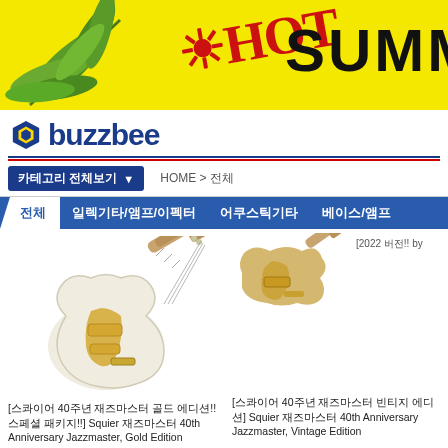[Figure (illustration): Hot Summer promotional banner with yellow background, tropical leaf on left, red handwritten HOT text and black SUMMER text]
buzzbee
카테고리 전체보기  HOME > 전체
전체  일렉기타/앰프/이펙터  어쿠스틱기타  베이스/앰프
[Figure (photo): White Squier 40th Anniversary Jazzmaster Gold Edition electric guitar]
[스콰이어 40주년 재즈마스터 골드 에디션!! 스페셜 패키지!!] Squier 재즈마스터 40th Anniversary Jazzmaster, Gold Edition
[Figure (photo): Vintage color Squier 40th Anniversary Jazzmaster Vintage Edition electric guitar (partial view)]
[스콰이어 40주년 재즈마스터 빈티지 에디션] Squier 재즈마스터 40th Anniversary Jazzmaster, Vintage Edition
[2022 버전!! by